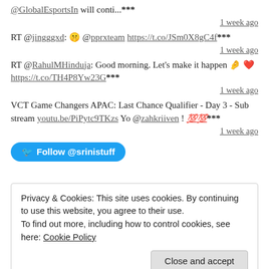@GlobalEsportsIn will conti...***
1 week ago
RT @jingggxd: 🤫 @pprxteam https://t.co/JSm0X8gC4f***
1 week ago
RT @RahulMHinduja: Good morning. Let's make it happen 🤌❤️ https://t.co/TH4P8Yw23G***
1 week ago
VCT Game Changers APAC: Last Chance Qualifier - Day 3 - Sub stream youtu.be/PiPytc9TKzs Yo @zahkriiven ! 💯💯***
1 week ago
Follow @srinistuff
Privacy & Cookies: This site uses cookies. By continuing to use this website, you agree to their use.
To find out more, including how to control cookies, see here: Cookie Policy
Close and accept